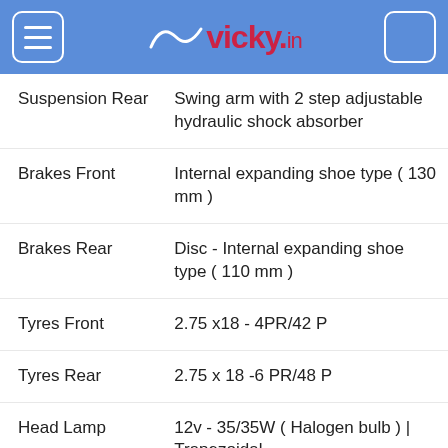vicky.in
| Specification | Value |
| --- | --- |
| Suspension Rear | Swing arm with 2 step adjustable hydraulic shock absorber |
| Brakes Front | Internal expanding shoe type ( 130 mm ) |
| Brakes Rear | Disc - Internal expanding shoe type ( 110 mm ) |
| Tyres Front | 2.75 x18 - 4PR/42 P |
| Tyres Rear | 2.75 x 18 -6 PR/48 P |
| Head Lamp | 12v - 35/35W ( Halogen bulb ) | Trapezoidal |